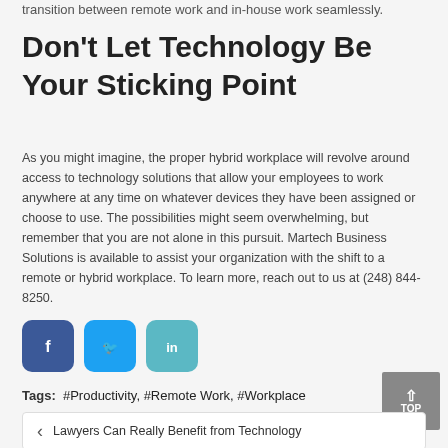transition between remote work and in-house work seamlessly.
Don't Let Technology Be Your Sticking Point
As you might imagine, the proper hybrid workplace will revolve around access to technology solutions that allow your employees to work anywhere at any time on whatever devices they have been assigned or choose to use. The possibilities might seem overwhelming, but remember that you are not alone in this pursuit. Martech Business Solutions is available to assist your organization with the shift to a remote or hybrid workplace. To learn more, reach out to us at (248) 844-8250.
[Figure (infographic): Social sharing buttons: Facebook (dark blue), Twitter (light blue), LinkedIn (teal)]
Tags: #Productivity, #Remote Work, #Workplace
< Lawyers Can Really Benefit from Technology